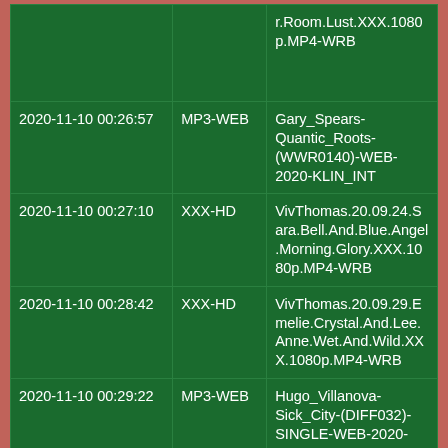|  |  | r.Room.Lust.XXX.1080p.MP4-WRB |
| 2020-11-10 00:26:57 | MP3-WEB | Gary_Spears-Quantic_Roots-(WWR0140)-WEB-2020-KLIN_INT |
| 2020-11-10 00:27:10 | XXX-HD | VivThomas.20.09.24.Sara.Bell.And.Blue.Angel.Morning.Glory.XXX.1080p.MP4-WRB |
| 2020-11-10 00:28:42 | XXX-HD | VivThomas.20.09.29.Emelie.Crystal.And.Lee.Anne.Wet.And.Wild.XXX.1080p.MP4-WRB |
| 2020-11-10 00:29:22 | MP3-WEB | Hugo_Villanova-Sick_City-(DIFF032)-SINGLE-WEB-2020-KLIN_INT |